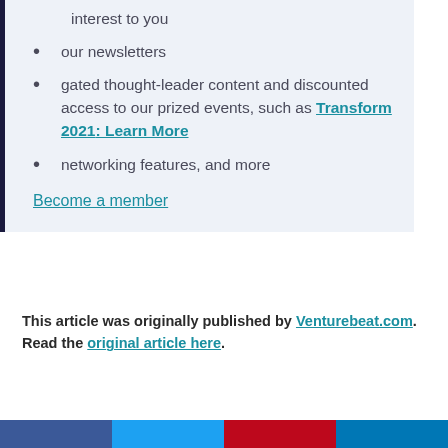interest to you
our newsletters
gated thought-leader content and discounted access to our prized events, such as Transform 2021: Learn More
networking features, and more
Become a member
This article was originally published by Venturebeat.com. Read the original article here.
[Figure (other): Social media share buttons: Facebook, Twitter, Pinterest, LinkedIn]